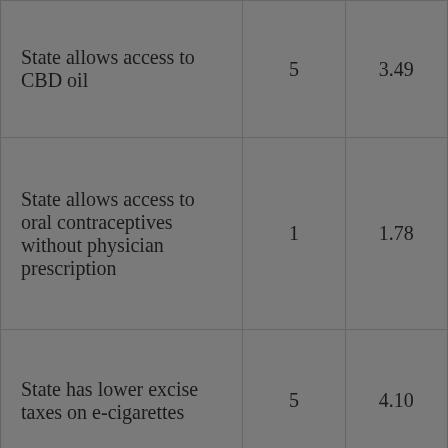| State allows access to CBD oil | 5 | 3.49 |
| State allows access to oral contraceptives without physician prescription | 1 | 1.78 |
| State has lower excise taxes on e-cigarettes | 5 | 4.10 |
| State allows access to naloxone | 5 | 3.92 |